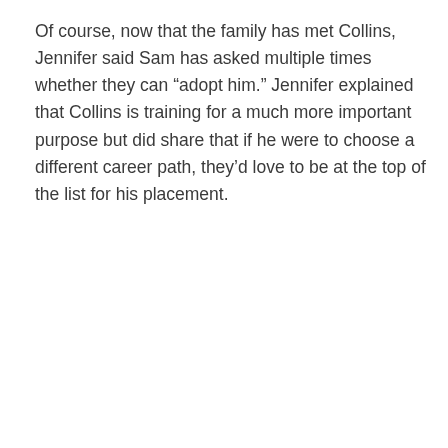Of course, now that the family has met Collins, Jennifer said Sam has asked multiple times whether they can “adopt him.” Jennifer explained that Collins is training for a much more important purpose but did share that if he were to choose a different career path, they’d love to be at the top of the list for his placement.